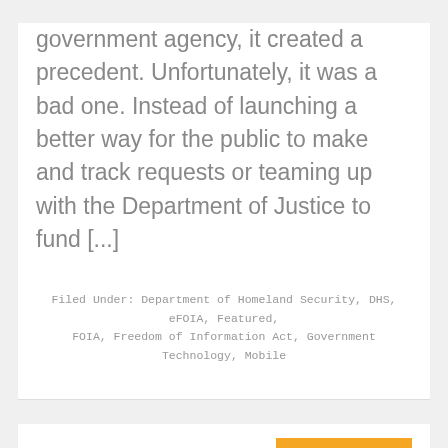government agency, it created a precedent. Unfortunately, it was a bad one. Instead of launching a better way for the public to make and track requests or teaming up with the Department of Justice to fund [...]
Filed Under: Department of Homeland Security, DHS, eFOIA, Featured, FOIA, Freedom of Information Act, Government Technology, Mobile
July 8, 2015 By
DHS Launches Federal Government's First FOIA App – NextGov
The Department of Homeland Security has